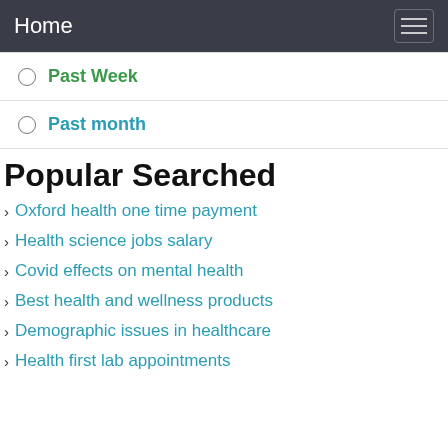Home
Past Week
Past month
Popular Searched
Oxford health one time payment
Health science jobs salary
Covid effects on mental health
Best health and wellness products
Demographic issues in healthcare
Health first lab appointments